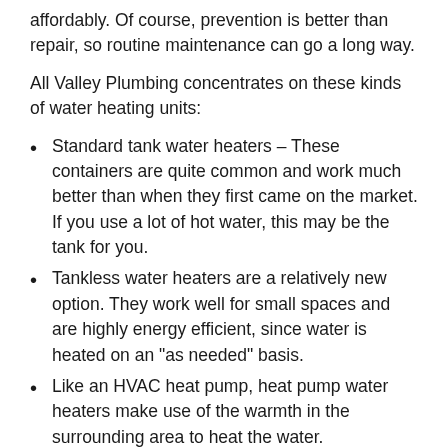affordably. Of course, prevention is better than repair, so routine maintenance can go a long way.
All Valley Plumbing concentrates on these kinds of water heating units:
Standard tank water heaters – These containers are quite common and work much better than when they first came on the market. If you use a lot of hot water, this may be the tank for you.
Tankless water heaters are a relatively new option. They work well for small spaces and are highly energy efficient, since water is heated on an "as needed" basis.
Like an HVAC heat pump, heat pump water heaters make use of the warmth in the surrounding area to heat the water.
You can be confident that the plumbing specialists at All Valley Plumbing will supply both dependable and reasonably priced hot water tank installation in Santa Rosa...